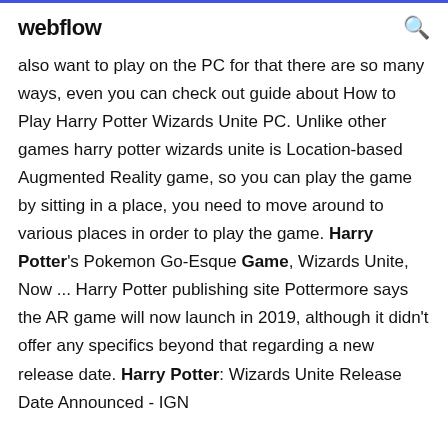webflow
also want to play on the PC for that there are so many ways, even you can check out guide about How to Play Harry Potter Wizards Unite PC. Unlike other games harry potter wizards unite is Location-based Augmented Reality game, so you can play the game by sitting in a place, you need to move around to various places in order to play the game. Harry Potter's Pokemon Go-Esque Game, Wizards Unite, Now ... Harry Potter publishing site Pottermore says the AR game will now launch in 2019, although it didn't offer any specifics beyond that regarding a new release date. Harry Potter: Wizards Unite Release Date Announced - IGN